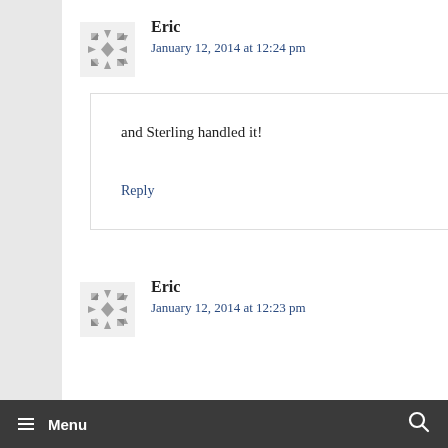Eric
January 12, 2014 at 12:24 pm
and Sterling handled it!
Reply
Eric
January 12, 2014 at 12:23 pm
≡ Menu